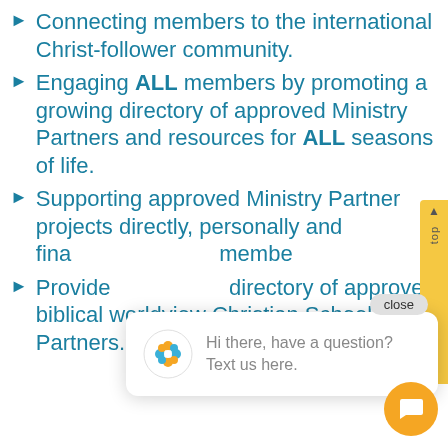Connecting members to the international Christ-follower community.
Engaging ALL members by promoting a growing directory of approved Ministry Partners and resources for ALL seasons of life.
Supporting approved Ministry Partner projects directly, personally and financially through member giving.
Providing a growing directory of approved biblical worldview Christian School Partners.
[Figure (screenshot): Chat popup overlay with 'close' button, a colorful circular icon, and text 'Hi there, have a question? Text us here.' plus an orange chat button in the bottom right corner.]